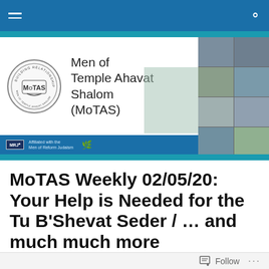Men of Temple Ahavat Shalom (MoTAS)
[Figure (logo): MoTAS banner with circular logo, organization name 'Men of Temple Ahavat Shalom (MoTAS)', MRJ affiliation text, and photo collage of members]
MoTAS Weekly 02/05/20: Your Help is Needed for the Tu B'Shevat Seder / … and much much more
Follow